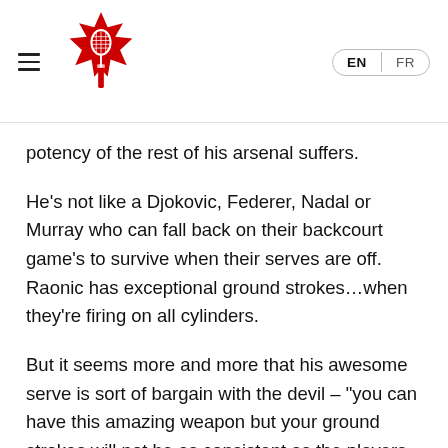[Figure (logo): Tennis Canada logo: red maple leaf with a tennis racket inside, navigation bar with hamburger menu on left and EN/FR language switcher on right]
potency of the rest of his arsenal suffers.
He’s not like a Djokovic, Federer, Nadal or Murray who can fall back on their backcourt game’s to survive when their serves are off. Raonic has exceptional ground strokes…when they’re firing on all cylinders.
But it seems more and more that his awesome serve is sort of bargain with the devil – “you can have this amazing weapon but your ground strokes will not be as consistent as the players who shall not be named for other purposes.